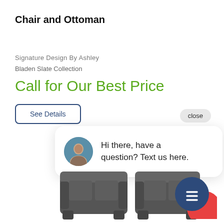Chair and Ottoman
Signature Design By Ashley
Bladen Slate Collection
Call for Our Best Price
See Details
close
Hi there, have a question? Text us here.
[Figure (photo): Two dark grey leather sofas side by side]
[Figure (illustration): Chat icon button circle dark navy blue with message lines icon, overlapping red circle]